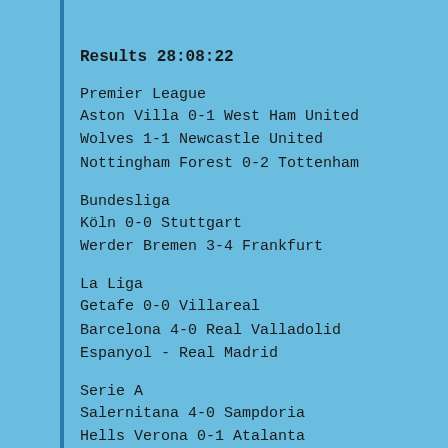Results 28:08:22
Premier League
Aston Villa 0-1 West Ham United
Wolves 1-1 Newcastle United
Nottingham Forest 0-2 Tottenham
Bundesliga
Köln 0-0 Stuttgart
Werder Bremen 3-4 Frankfurt
La Liga
Getafe 0-0 Villareal
Barcelona 4-0 Real Valladolid
Espanyol - Real Madrid
Serie A
Salernitana 4-0 Sampdoria
Hells Verona 0-1 Atalanta
Fiorentina 0-0 Napoli
Lecce 1-1 Empoli
Ligue 1